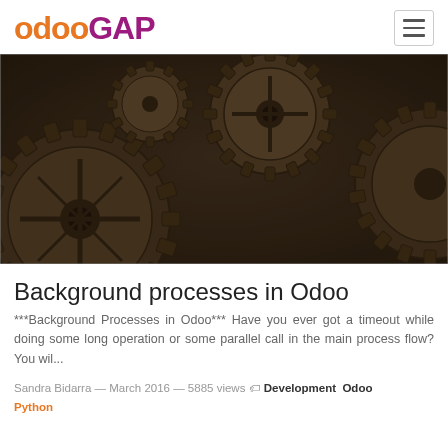ODOO GAP
[Figure (photo): Close-up photograph of interlocking mechanical gears with dark brown/bronze metallic finish against a dark background.]
Background processes in Odoo
***Background Processes in Odoo*** Have you ever got a timeout while doing some long operation or some parallel call in the main process flow? You wil...
Sandra Bidarra — March 2016 — 5885 views 🏷 Development Odoo Python